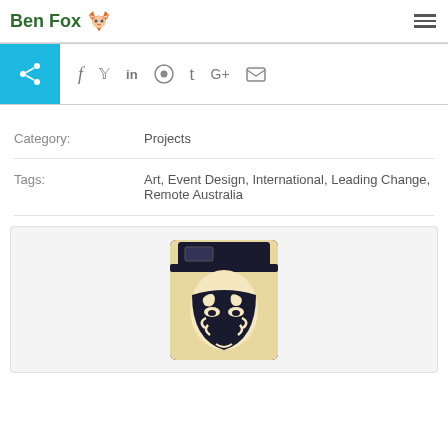Ben Fox
[Figure (screenshot): Share bar with social media icons: Facebook, Twitter, LinkedIn, Reddit, Tumblr, Google+, Email]
Category: Projects
Tags: Art, Event Design, International, Leading Change, Remote Australia
[Figure (photo): Illustration of a stylized masked/decorated figure wearing a large hat, rendered in black and cream/tan colors]